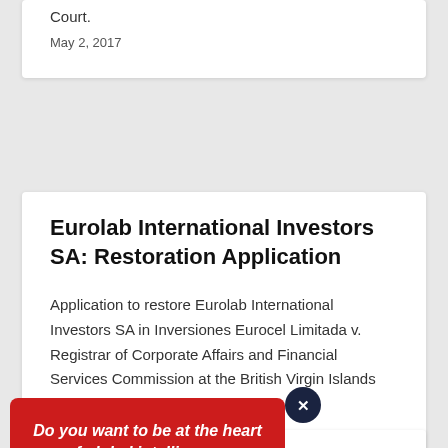Court.
May 2, 2017
Eurolab International Investors SA: Restoration Application
Application to restore Eurolab International Investors SA in Inversiones Eurocel Limitada v. Registrar of Corporate Affairs and Financial Services Commission at the British Virgin Islands High Court.
May 2, 2017
Do you want to be at the heart of global intelligence, investigations & recovery?